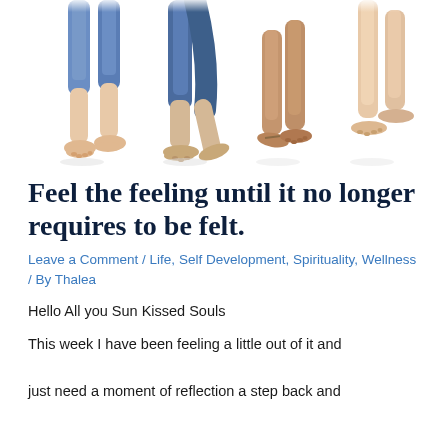[Figure (photo): Cropped photo showing the lower legs and feet of four people walking or stepping forward on a white background, wearing jeans and casual clothing.]
Feel the feeling until it no longer requires to be felt.
Leave a Comment / Life, Self Development, Spirituality, Wellness / By Thalea
Hello All you Sun Kissed Souls
This week I have been feeling a little out of it and just need a moment of reflection a step back and